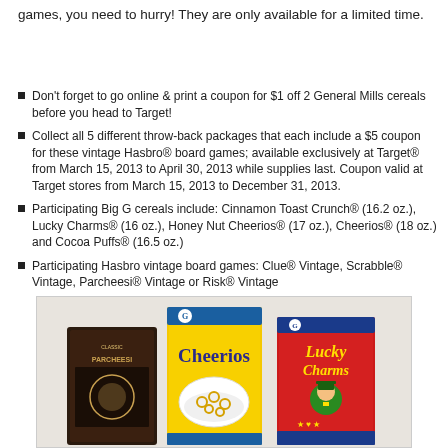games, you need to hurry! They are only available for a limited time.
Don't forget to go online & print a coupon for $1 off 2 General Mills cereals before you head to Target!
Collect all 5 different throw-back packages that each include a $5 coupon for these vintage Hasbro® board games; available exclusively at Target® from March 15, 2013 to April 30, 2013 while supplies last. Coupon valid at Target stores from March 15, 2013 to December 31, 2013.
Participating Big G cereals include: Cinnamon Toast Crunch® (16.2 oz.), Lucky Charms® (16 oz.), Honey Nut Cheerios® (17 oz.), Cheerios® (18 oz.) and Cocoa Puffs® (16.5 oz.)
Participating Hasbro vintage board games: Clue® Vintage, Scrabble® Vintage, Parcheesi® Vintage or Risk® Vintage
[Figure (photo): Photo of vintage cereal boxes and board games: Parcheesi board game box, Cheerios cereal box (yellow), and Lucky Charms cereal box (red), arranged together]